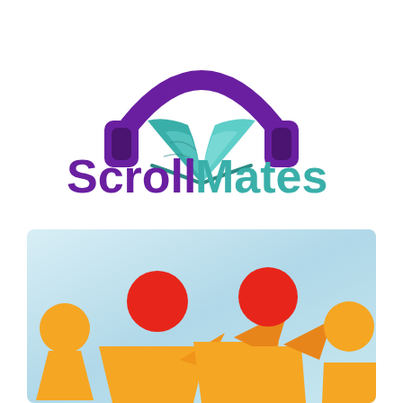[Figure (logo): ScrollMates logo: purple headphones over a teal open book, with the text 'Scroll' in purple and 'Mates' in teal below]
[Figure (illustration): Colorful illustration of stylized people figures (orange and red circles as heads, orange triangle/arrow shapes as bodies) on a light blue gradient background, representing a group or community]